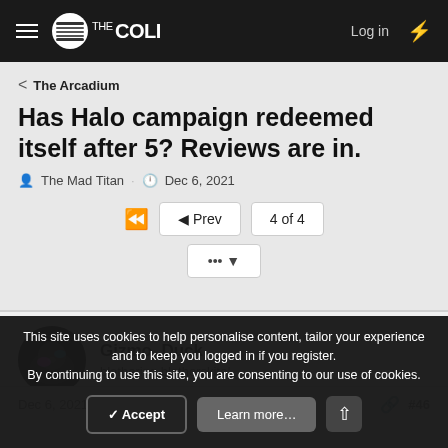THE COLI — Log in
< The Arcadium
Has Halo campaign redeemed itself after 5? Reviews are in.
The Mad Titan · Dec 6, 2021
◄◄  ◄ Prev  4 of 4
••• ▼
Gizmo_Duck
blathering blatherskite!
Dec 6, 2021  #46
This site uses cookies to help personalise content, tailor your experience and to keep you logged in if you register.
By continuing to use this site, you are consenting to our use of cookies.
✓ Accept   Learn more…